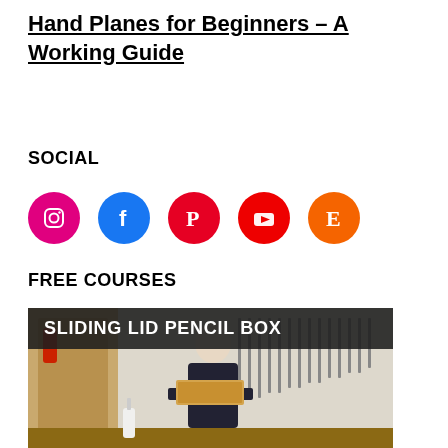Hand Planes for Beginners – A Working Guide
SOCIAL
[Figure (infographic): Row of five social media icon circles: Instagram (pink), Facebook (blue), Pinterest (red), YouTube (red), Etsy (orange)]
FREE COURSES
[Figure (photo): Video thumbnail showing a man in a dark apron holding a wooden sliding lid pencil box in a woodworking workshop with tools on the wall behind him. Title overlay reads SLIDING LID PENCIL BOX.]